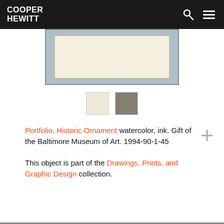COOPER HEWITT
[Figure (photo): Partial view of a watercolor and ink artwork from Portfolio, Historic Ornament, showing a cream/ivory framed rectangle on a gray-blue background]
[Figure (infographic): Two color swatches: cream/ivory and medium gray]
Portfolio, Historic Ornament watercolor, ink. Gift of the Baltimore Museum of Art. 1994-90-1-45
This object is part of the Drawings, Prints, and Graphic Design collection.